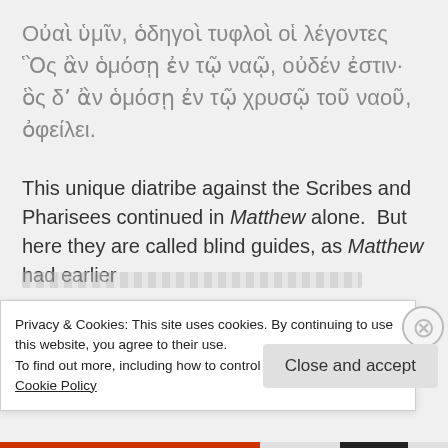Οὐαὶ ὑμῖν, ὁδηγοὶ τυφλοὶ οἱ λέγοντες Ὃς ἂν ὁμόσῃ ἐν τῷ ναῷ, οὐδέν ἐστιν· ὃς δʼ ἂν ὁμόσῃ ἐν τῷ χρυσῷ τοῦ ναοῦ, ὀφείλει.
This unique diatribe against the Scribes and Pharisees continued in Matthew alone.  But here they are called blind guides, as Matthew had earlier…
Privacy & Cookies: This site uses cookies. By continuing to use this website, you agree to their use.
To find out more, including how to control cookies, see here: Cookie Policy